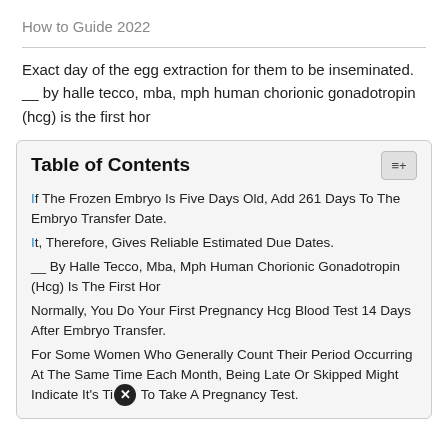How to Guide 2022
Exact day of the egg extraction for them to be inseminated. __ by halle tecco, mba, mph human chorionic gonadotropin (hcg) is the first hor
| Table of Contents |
| --- |
| If The Frozen Embryo Is Five Days Old, Add 261 Days To The Embryo Transfer Date. |
| It, Therefore, Gives Reliable Estimated Due Dates. |
| __ By Halle Tecco, Mba, Mph Human Chorionic Gonadotropin (Hcg) Is The First Hor |
| Normally, You Do Your First Pregnancy Hcg Blood Test 14 Days After Embryo Transfer. |
| For Some Women Who Generally Count Their Period Occurring At The Same Time Each Month, Being Late Or Skipped Might Indicate It's Time To Take A Pregnancy Test. |